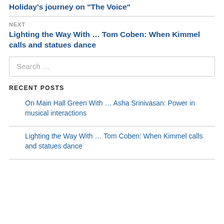Holiday's journey on “The Voice”
NEXT
Lighting the Way With … Tom Coben: When Kimmel calls and statues dance
Search …
RECENT POSTS
On Main Hall Green With … Asha Srinivasan: Power in musical interactions
Lighting the Way With … Tom Coben: When Kimmel calls and statues dance